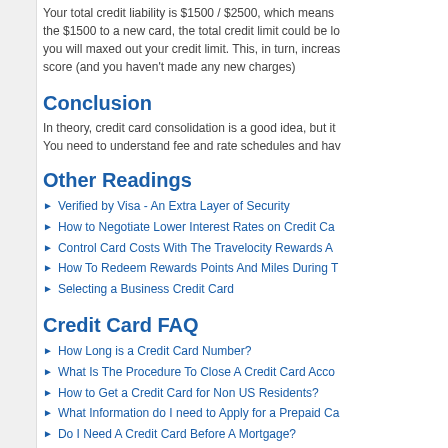Your total credit liability is $1500 / $2500, which means the $1500 to a new card, the total credit limit could be lo... you will maxed out your credit limit. This, in turn, increas... score (and you haven't made any new charges)
Conclusion
In theory, credit card consolidation is a good idea, but it... You need to understand fee and rate schedules and hav...
Other Readings
Verified by Visa - An Extra Layer of Security
How to Negotiate Lower Interest Rates on Credit Car...
Control Card Costs With The Travelocity Rewards An...
How To Redeem Rewards Points And Miles During T...
Selecting a Business Credit Card
Credit Card FAQ
How Long is a Credit Card Number?
What Is The Procedure To Close A Credit Card Accou...
How to Get a Credit Card for Non US Residents?
What Information do I need to Apply for a Prepaid Ca...
Do I Need A Credit Card Before A Mortgage?
More at: Credit Card FAQ